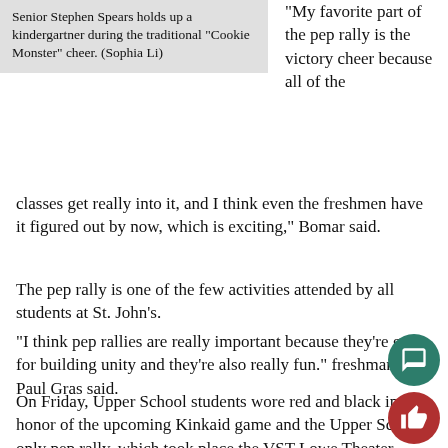Senior Stephen Spears holds up a kindergartner during the traditional “Cookie Monster” cheer. (Sophia Li)
“My favorite part of the pep rally is the victory cheer because all of the classes get really into it, and I think even the freshmen have it figured out by now, which is exciting,” Bomar said.
The pep rally is one of the few activities attended by all students at St. John’s.
“I think pep rallies are really important because they’re great for building unity and they’re also really fun.” freshman Sean Paul Gras said.
On Friday, Upper School students wore red and black in honor of the upcoming Kinkaid game and the Upper School-only pep rally, which took place the VST Lowe Theater.